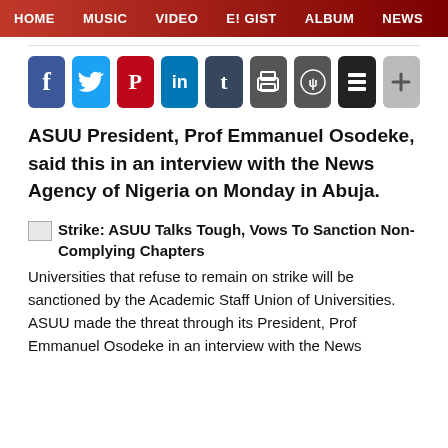HOME  MUSIC  VIDEO  E! GIST  ALBUM  NEWS
[Figure (other): Social share buttons: Facebook, Twitter, Pinterest, LinkedIn, Tumblr, Print, Reddit, Stack, Plus]
ASUU President, Prof Emmanuel Osodeke, said this in an interview with the News Agency of Nigeria on Monday in Abuja.
Strike: ASUU Talks Tough, Vows To Sanction Non-Complying Chapters
Universities that refuse to remain on strike will be sanctioned by the Academic Staff Union of Universities.
ASUU made the threat through its President, Prof Emmanuel Osodeke in an interview with the News